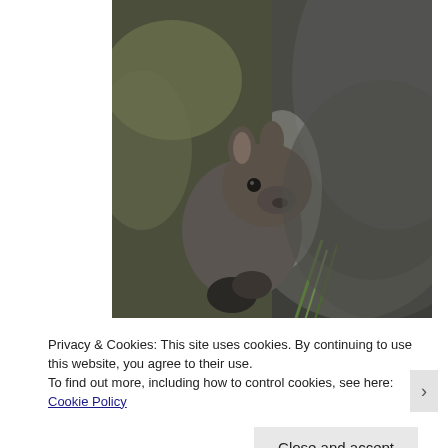[Figure (photo): Close-up photograph of a young wallaby or kangaroo joey peeking out from the pouch of its mother, with blurred green and brown natural background. The joey has large ears, a dark eye, and brownish-grey fur.]
Privacy & Cookies: This site uses cookies. By continuing to use this website, you agree to their use.
To find out more, including how to control cookies, see here: Cookie Policy
Close and accept